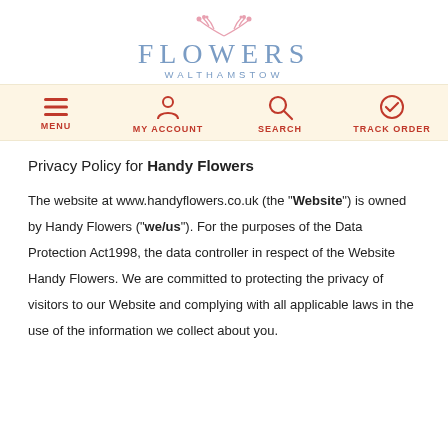[Figure (logo): Flowers Walthamstow logo with decorative sprig, letters in blue-grey with 'WALTHAMSTOW' underneath]
[Figure (infographic): Navigation bar with four items: MENU (hamburger icon), MY ACCOUNT (person icon), SEARCH (magnifying glass icon), TRACK ORDER (circle checkmark icon) — all in red on cream background]
Privacy Policy for Handy Flowers
The website at www.handyflowers.co.uk (the "Website") is owned by Handy Flowers ("we/us"). For the purposes of the Data Protection Act1998, the data controller in respect of the Website Handy Flowers. We are committed to protecting the privacy of visitors to our Website and complying with all applicable laws in the use of the information we collect about you.